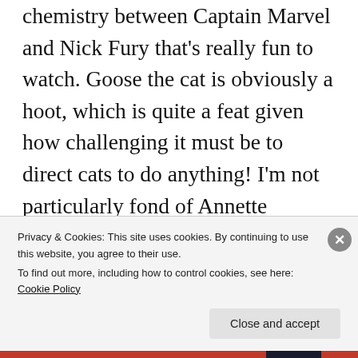chemistry between Captain Marvel and Nick Fury that's really fun to watch. Goose the cat is obviously a hoot, which is quite a feat given how challenging it must be to direct cats to do anything! I'm not particularly fond of Annette Benning's casting here, though I adore her as an actress. She seems like she wanted to laugh every time she uttered her lines which I find distracting. Jude Law is pretty memorable though Ben Mendelsohn is much more the scene stealer.
Privacy & Cookies: This site uses cookies. By continuing to use this website, you agree to their use. To find out more, including how to control cookies, see here: Cookie Policy
Close and accept